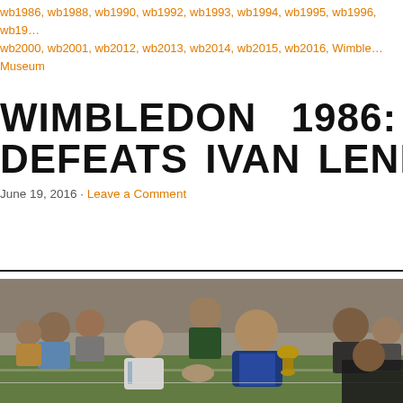wb1986, wb1988, wb1990, wb1992, wb1993, wb1994, wb1995, wb1996, wb19... wb2000, wb2001, wb2012, wb2013, wb2014, wb2015, wb2016, Wimble... Museum
WIMBLEDON 1986: BORIS BECK... DEFEATS IVAN LENDL
June 19, 2016 · Leave a Comment
[Figure (photo): Boris Becker holding the Wimbledon trophy shaking hands with Ivan Lendl at the 1986 Wimbledon championship ceremony, surrounded by officials and spectators]